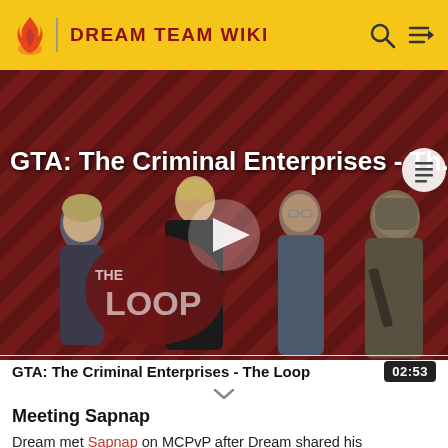DREAM TEAM WIKI
[Figure (screenshot): Video thumbnail for 'GTA: The Criminal Enterprises - The Loop' showing GTA game characters on a red diagonal striped background with a play button overlay and 'THE LOOP' text logo]
GTA: The Criminal Enterprises - Th...
GTA: The Criminal Enterprises - The Loop   02:53
Meeting Sapnap
Dream met Sapnap on MCPvP after Dream shared his